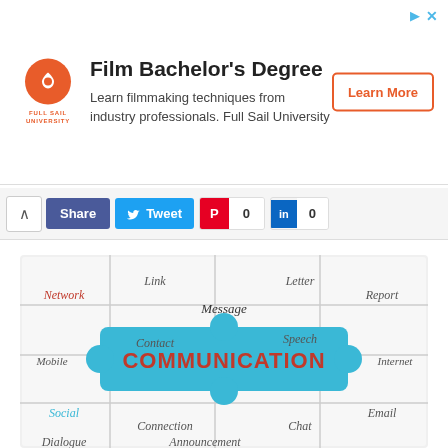[Figure (infographic): Advertisement banner for Full Sail University Film Bachelor's Degree with logo, description text, and Learn More button]
Film Bachelor's Degree
Learn filmmaking techniques from industry professionals. Full Sail University
[Figure (infographic): Social sharing toolbar with Share, Tweet, Pinterest (0), and LinkedIn (0) buttons]
[Figure (infographic): Communication puzzle infographic showing puzzle pieces with words: Network, Link, Message, Letter, Contact, Speech, Report, Mobile, Internet, Social, Email, Connection, Chat, Dialogue, Announcement, with a central blue piece labeled COMMUNICATION]